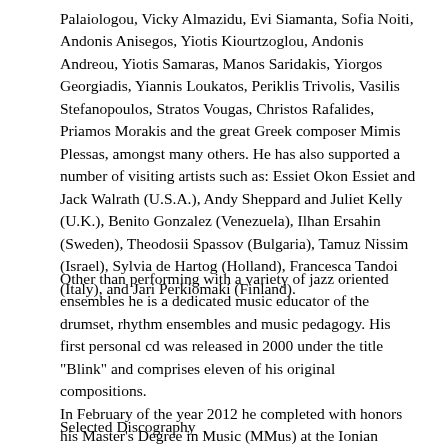Palaiologou, Vicky Almazidu, Evi Siamanta, Sofia Noiti, Andonis Anisegos, Yiotis Kiourtzoglou, Andonis Andreou, Yiotis Samaras, Manos Saridakis, Yiorgos Georgiadis, Yiannis Loukatos, Periklis Trivolis, Vasilis Stefanopoulos, Stratos Vougas, Christos Rafalides, Priamos Morakis and the great Greek composer Mimis Plessas, amongst many others. He has also supported a number of visiting artists such as: Essiet Okon Essiet and Jack Walrath (U.S.A.), Andy Sheppard and Juliet Kelly (U.K.), Benito Gonzalez (Venezuela), Ilhan Ersahin (Sweden), Theodosii Spassov (Bulgaria), Tamuz Nissim (Israel), Sylvia de Hartog (Holland), Francesca Tandoi (Italy), and Jari Perkiomaki (Finland).
Other than performing with a variety of jazz oriented ensembles he is a dedicated music educator of the drumset, rhythm ensembles and music pedagogy. His first personal cd was released in 2000 under the title "Blink" and comprises eleven of his original compositions.
In February of the year 2012 he completed with honors his Master's Degree in Music (MMus) at the Ionian University (Corfu/Greece).
Selected Discography